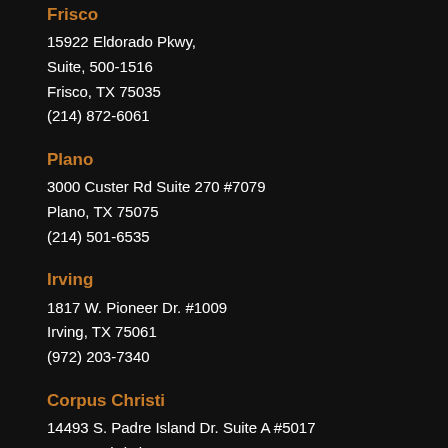Frisco
15922 Eldorado Pkwy,
Suite, 500-1516
Frisco, TX 75035
(214) 872-6061
Plano
3000 Custer Rd Suite 270 #7079
Plano, TX 75075
(214) 501-6535
Irving
1817 W. Pioneer Dr. #1009
Irving, TX 75061
(972) 203-7340
Corpus Christi
14493 S. Padre Island Dr. Suite A #5017
Corpus Christi, TX 78418